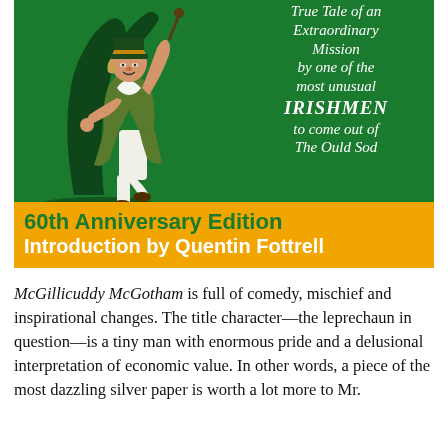[Figure (illustration): Book cover with green background showing an illustrated leprechaun figure in white breeches and green coat with a shadow figure behind, and italic white text on the right reading 'True Tale of an Extraordinary Mission by one of the most unusual IRISHMEN to come out of The Ould Sod'. An orange banner at the bottom reads '60th Anniversary Edition' and 'Introduction by Quentin Fottrell'.]
McGillicuddy McGotham is full of comedy, mischief and inspirational changes. The title character—the leprechaun in question—is a tiny man with enormous pride and a delusional interpretation of economic value. In other words, a piece of the most dazzling silver paper is worth a lot more to Mr.